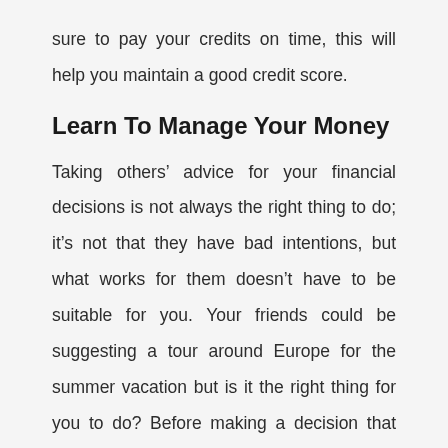sure to pay your credits on time, this will help you maintain a good credit score.
Learn To Manage Your Money
Taking others’ advice for your financial decisions is not always the right thing to do; it’s not that they have bad intentions, but what works for them doesn’t have to be suitable for you. Your friends could be suggesting a tour around Europe for the summer vacation but is it the right thing for you to do? Before making a decision that could cost you tons of money, you need to manage your budget. Knowledge is the best way to plan your personal finance. If you think you lack knowledge, then